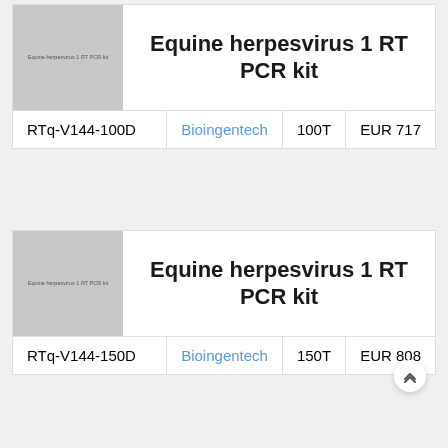[Figure (photo): Product image placeholder for Equine herpesvirus 1 RT PCR kit (gray rectangle with text)]
Equine herpesvirus 1 RT PCR kit
| Catalog | Vendor | Qty | Price |
| --- | --- | --- | --- |
| RTq-V144-100D | Bioingentech | 100T | EUR 717 |
[Figure (photo): Product image placeholder for Equine herpesvirus 1 RT PCR kit (gray rectangle with text)]
Equine herpesvirus 1 RT PCR kit
| Catalog | Vendor | Qty | Price |
| --- | --- | --- | --- |
| RTq-V144-150D | Bioingentech | 150T | EUR 808 |